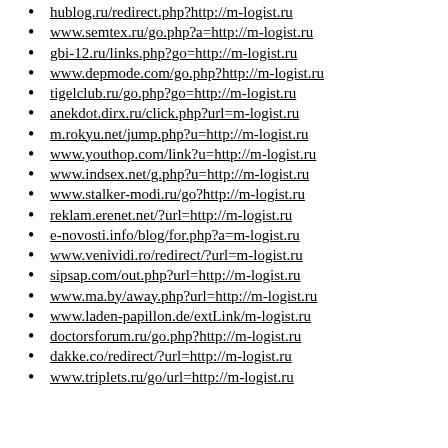hublog.ru/redirect.php?http://m-logist.ru
www.semtex.ru/go.php?a=http://m-logist.ru
gbi-12.ru/links.php?go=http://m-logist.ru
www.depmode.com/go.php?http://m-logist.ru
tigelclub.ru/go.php?go=http://m-logist.ru
anekdot.dirx.ru/click.php?url=m-logist.ru
m.rokyu.net/jump.php?u=http://m-logist.ru
www.youthop.com/link?u=http://m-logist.ru
www.indsex.net/g.php?u=http://m-logist.ru
www.stalker-modi.ru/go?http://m-logist.ru
reklam.erenet.net/?url=http://m-logist.ru
e-novosti.info/blog/for.php?a=m-logist.ru
www.venividi.ro/redirect/?url=m-logist.ru
sipsap.com/out.php?url=http://m-logist.ru
www.ma.by/away.php?url=http://m-logist.ru
www.laden-papillon.de/extLink/m-logist.ru
doctorsforum.ru/go.php?http://m-logist.ru
dakke.co/redirect/?url=http://m-logist.ru
www.triplets.ru/go/url=http://m-logist.ru